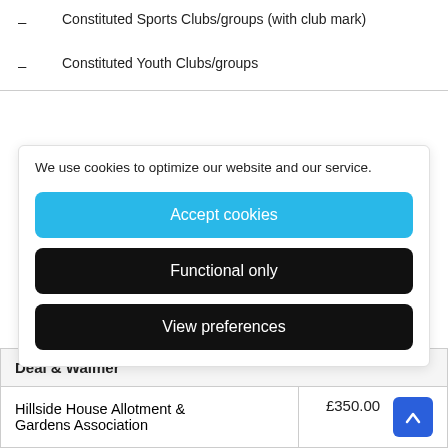– Constituted Sports Clubs/groups (with club mark)
– Constituted Youth Clubs/groups
We use cookies to optimize our website and our service.
Accept cookies
Functional only
View preferences
| Deal & Walmer |  |
| --- | --- |
| Hillside House Allotment & Gardens Association | £350.00 |